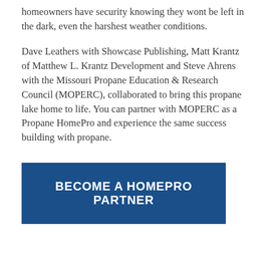homeowners have security knowing they wont be left in the dark, even the harshest weather conditions.
Dave Leathers with Showcase Publishing, Matt Krantz of Matthew L. Krantz Development and Steve Ahrens with the Missouri Propane Education & Research Council (MOPERC), collaborated to bring this propane lake home to life. You can partner with MOPERC as a Propane HomePro and experience the same success building with propane.
BECOME A HOMEPRO PARTNER